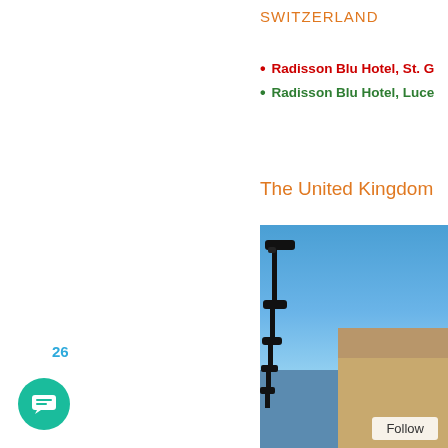SWITZERLAND
Radisson Blu Hotel, St. G…
Radisson Blu Hotel, Luce…
The United Kingdom
[Figure (photo): Photo of a historic building with lamp posts against a blue sky, partially cropped. A 'Follow' button overlay is visible at the bottom right.]